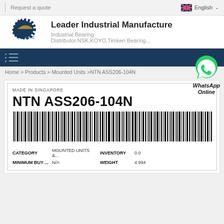Request a quote | English
Leader Industrial Manufacture
Industrial Bearing Distributor.NSK,KOYO,Timken Bearing...
Home > Products > Mounted Units >NTN ASS206-104N
WhatsApp Online
MADE IN SINGAPORE
NTN ASS206-104N
[Figure (other): Barcode for NTN ASS206-104N product]
| CATEGORY |  | INVENTORY |  |
| --- | --- | --- | --- |
| CATEGORY | MOUNTED UNITS &... | INVENTORY | 0.0 |
| MINIMUM BUY ... | N/A | WEIGHT | 4.994 |